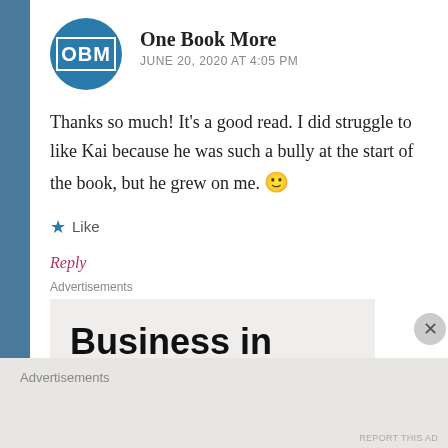[Figure (logo): Circular blue avatar with white text OBM (One Book More logo)]
One Book More
JUNE 20, 2020 AT 4:05 PM
Thanks so much! It's a good read. I did struggle to like Kai because he was such a bully at the start of the book, but he grew on me. 🙂
Like
Reply
Advertisements
Business in the front...
Advertisements